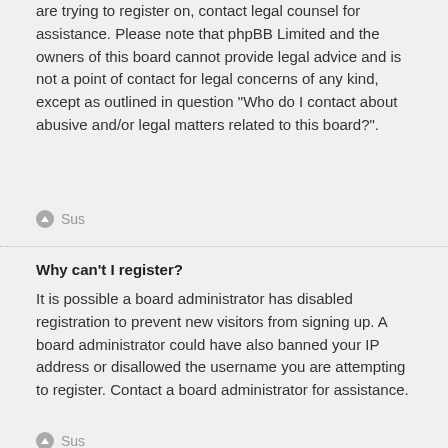are trying to register on, contact legal counsel for assistance. Please note that phpBB Limited and the owners of this board cannot provide legal advice and is not a point of contact for legal concerns of any kind, except as outlined in question “Who do I contact about abusive and/or legal matters related to this board?”.
Sus
Why can’t I register?
It is possible a board administrator has disabled registration to prevent new visitors from signing up. A board administrator could have also banned your IP address or disallowed the username you are attempting to register. Contact a board administrator for assistance.
Sus
I registered but cannot login!
First check your username and password. If they are correct, then one of two things may have happened. If COPPA support is enabled and you specified being under 13 years old during registration, you will have to follow the instructions you received. Some boards will also require new registrations to be activated, either by yourself or by an administrator before you can logon; this information was present during registration. If you were sent an email, follow the instructions. If you did not receive an email, you may have provided an incorrect email address or the email may have been picked up by a spam
COOKIE_CONSENT_MSG
COOKIE_CONSENT_INFO
COOKIE_CONSENT_OK